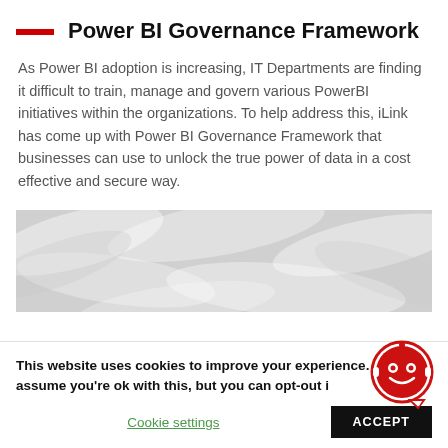Power BI Governance Framework
As Power BI adoption is increasing, IT Departments are finding it difficult to train, manage and govern various PowerBI initiatives within the organizations. To help address this, iLink has come up with Power BI Governance Framework that businesses can use to unlock the true power of data in a cost effective and secure way.
[Figure (photo): Grayscale abstract image with overlapping curved/cylindrical shapes forming a woven pattern background.]
This website uses cookies to improve your experience. We'll assume you're ok with this, but you can opt-out if you wish. Cookie settings ACCEPT